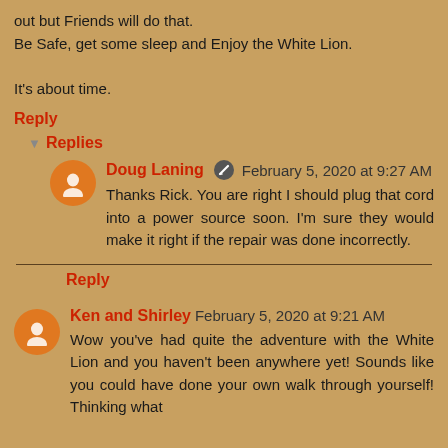out but Friends will do that.
Be Safe, get some sleep and Enjoy the White Lion.

It's about time.
Reply
Replies
Doug Laning February 5, 2020 at 9:27 AM
Thanks Rick. You are right I should plug that cord into a power source soon. I'm sure they would make it right if the repair was done incorrectly.
Reply
Ken and Shirley February 5, 2020 at 9:21 AM
Wow you've had quite the adventure with the White Lion and you haven't been anywhere yet! Sounds like you could have done your own walk through yourself! Thinking what